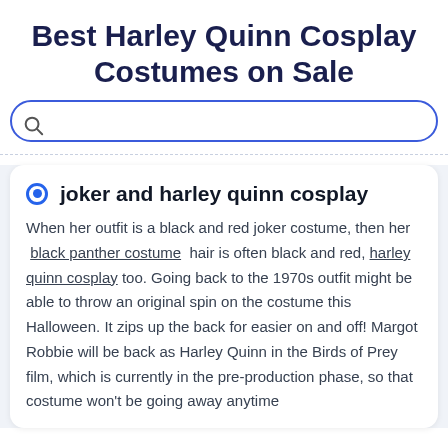Best Harley Quinn Cosplay Costumes on Sale
[Figure (other): Search bar with magnifying glass icon and blue rounded border]
joker and harley quinn cosplay
When her outfit is a black and red joker costume, then her black panther costume hair is often black and red, harley quinn cosplay too. Going back to the 1970s outfit might be able to throw an original spin on the costume this Halloween. It zips up the back for easier on and off! Margot Robbie will be back as Harley Quinn in the Birds of Prey film, which is currently in the pre-production phase, so that costume won't be going away anytime